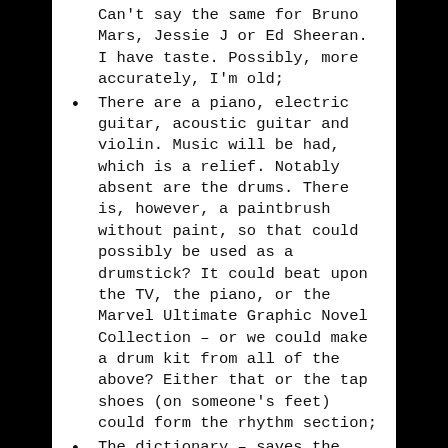Can't say the same for Bruno Mars, Jessie J or Ed Sheeran. I have taste. Possibly, more accurately, I'm old;
There are a piano, electric guitar, acoustic guitar and violin. Music will be had, which is a relief. Notably absent are the drums. There is, however, a paintbrush without paint, so that could possibly be used as a drumstick? It could beat upon the TV, the piano, or the Marvel Ultimate Graphic Novel Collection – or we could make a drum kit from all of the above? Either that or the tap shoes (on someone's feet) could form the rhythm section;
The dictionary – saves the hassle of having to write it all over again. That's a relief!
The bubbles are clever – people of the future are, of course,